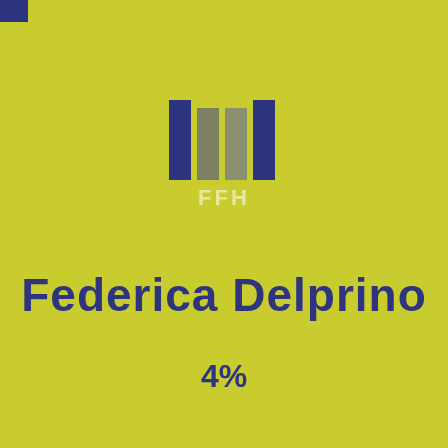[Figure (logo): FFH logo with four vertical bars (two dark purple, two olive/grey-green) above a smaller stylized FFH text mark]
Federica Delprino
4%